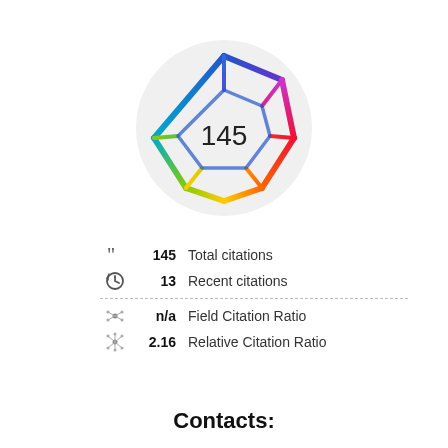[Figure (logo): Colorful multi-colored polygon (icosahedron-like) logo with the number 145 in the center, on a light gray circular background]
145  Total citations
13   Recent citations
n/a  Field Citation Ratio
2.16 Relative Citation Ratio
Contacts: